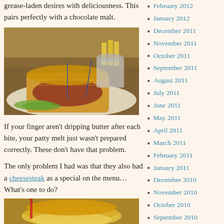grease-laden desires with deliciousness. This pairs perfectly with a chocolate malt.
[Figure (photo): Photo of a patty melt sandwich on a white plate with pickles and french fries in background]
If your finger aren't dripping butter after each bite, your patty melt just wasn't prepared correctly. These don't have that problem.
The only problem I had was that they also had a cheesesteak as a special on the menu… What's one to do?
[Figure (photo): Photo of a cheesesteak sandwich]
February 2012
January 2012
December 2011
November 2011
October 2011
September 2011
August 2011
July 2011
June 2011
May 2011
April 2011
March 2011
February 2011
January 2011
December 2010
November 2010
October 2010
September 2010
August 2010